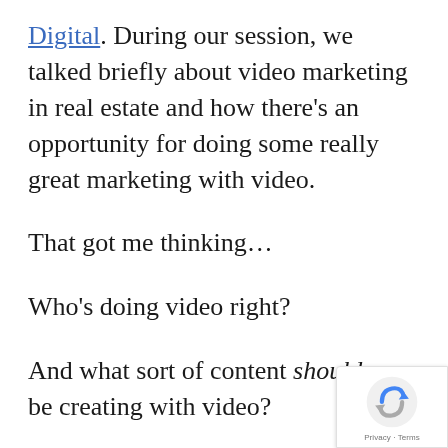Digital. During our session, we talked briefly about video marketing in real estate and how there's an opportunity for doing some really great marketing with video.
That got me thinking...
Who's doing video right?
And what sort of content should you be creating with video?